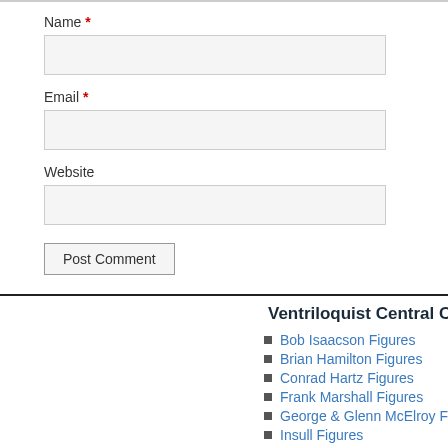Name *
Email *
Website
Post Comment
Ventriloquist Central Collect
Bob Isaacson Figures
Brian Hamilton Figures
Conrad Hartz Figures
Frank Marshall Figures
George & Glenn McElroy Figures
Insull Figures
JC Turner Figures